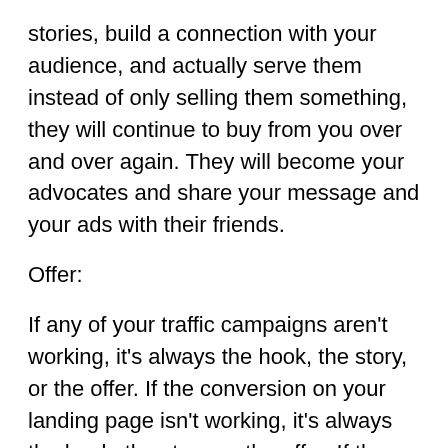stories, build a connection with your audience, and actually serve them instead of only selling them something, they will continue to buy from you over and over again. They will become your advocates and share your message and your ads with their friends.
Offer:
If any of your traffic campaigns aren't working, it's always the hook, the story, or the offer. If the conversion on your landing page isn't working, it's always the hook, the story, or the offer. If the attendance to your webinar, the close rate on your pitch, your upsell take rate, or your email open rate is not working, it's always the hook, the story, or the offer. And if you want to solve all these